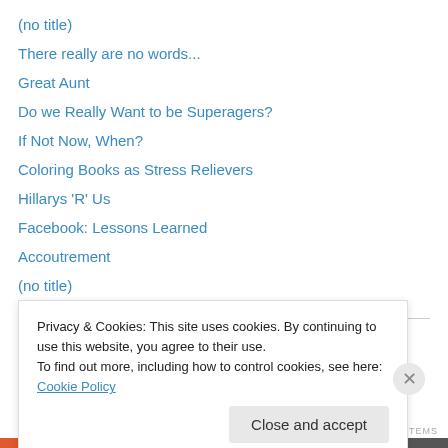(no title)
There really are no words...
Great Aunt
Do we Really Want to be Superagers?
If Not Now, When?
Coloring Books as Stress Relievers
Hillarys 'R' Us
Facebook: Lessons Learned
Accoutrement
(no title)
memories
Privacy & Cookies: This site uses cookies. By continuing to use this website, you agree to their use.
To find out more, including how to control cookies, see here: Cookie Policy